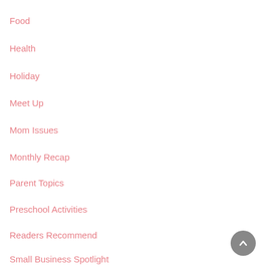Food
Health
Holiday
Meet Up
Mom Issues
Monthly Recap
Parent Topics
Preschool Activities
Readers Recommend
Small Business Spotlight